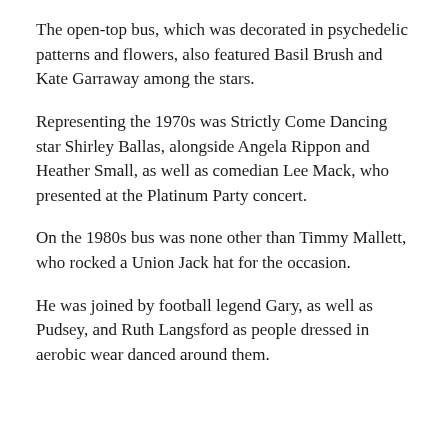The open-top bus, which was decorated in psychedelic patterns and flowers, also featured Basil Brush and Kate Garraway among the stars.
Representing the 1970s was Strictly Come Dancing star Shirley Ballas, alongside Angela Rippon and Heather Small, as well as comedian Lee Mack, who presented at the Platinum Party concert.
On the 1980s bus was none other than Timmy Mallett, who rocked a Union Jack hat for the occasion.
He was joined by football legend Gary, as well as Pudsey, and Ruth Langsford as people dressed in aerobic wear danced around them.